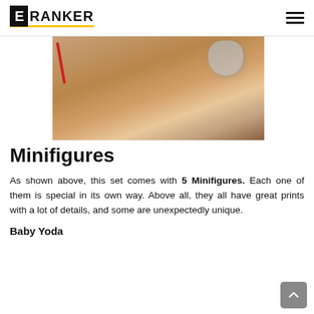E-RANKER
[Figure (photo): Close-up photo of LEGO minifigures on a wooden table surface, with a red lightsaber piece and a transparent dome piece visible]
Minifigures
As shown above, this set comes with 5 Minifigures. Each one of them is special in its own way. Above all, they all have great prints with a lot of details, and some are unexpectedly unique.
Baby Yoda